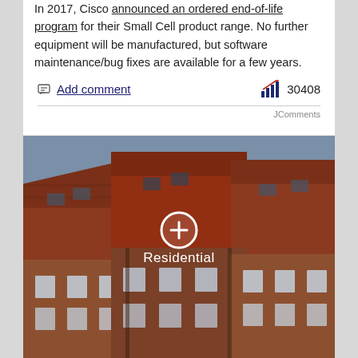In 2017, Cisco announced an ordered end-of-life program for their Small Cell product range. No further equipment will be manufactured, but software maintenance/bug fixes are available for a few years.
Add comment   30408
JComments
[Figure (photo): Photograph of residential brick buildings with red-tiled roofs with skylights and solar panels, with a white circle plus button overlay and the word 'Residential' in white text centered on the image.]